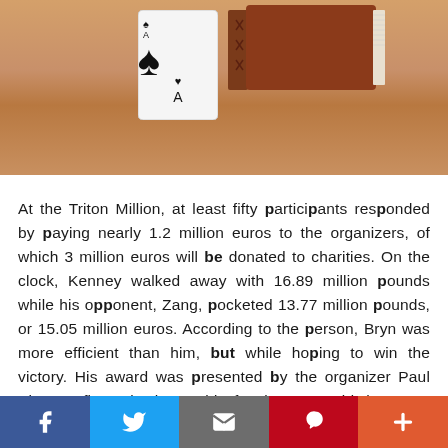[Figure (photo): Photo of an Ace of Spades playing card standing upright on a wooden surface next to a brown leather-bound book]
At the Triton Million, at least fifty participants responded by paying nearly 1.2 million euros to the organizers, of which 3 million euros will be donated to charities. On the clock, Kenney walked away with 16.89 million pounds while his opponent, Zang, pocketed 13.77 million pounds, or 15.05 million euros. According to the person, Bryn was more efficient than him, but while hoping to win the victory. His award was presented by the organizer Paul Phua, a figure in the world of poker. He said that even recreational players can win and sur...